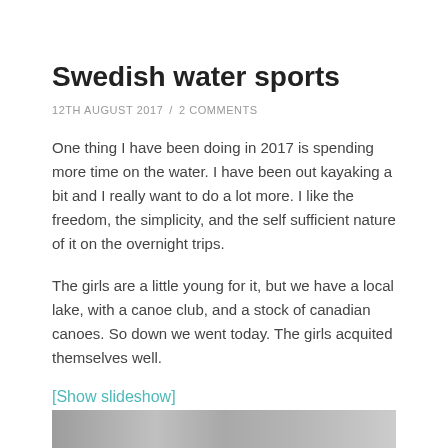Swedish water sports
12TH AUGUST 2017  /  2 COMMENTS
One thing I have been doing in 2017 is spending more time on the water. I have been out kayaking a bit and I really want to do a lot more. I like the freedom, the simplicity, and the self sufficient nature of it on the overnight trips.
The girls are a little young for it, but we have a local lake, with a canoe club, and a stock of canadian canoes. So down we went today. The girls acquited themselves well.
[Show slideshow]
[Figure (photo): Partial image strip at bottom of page showing what appears to be outdoor/water scene]